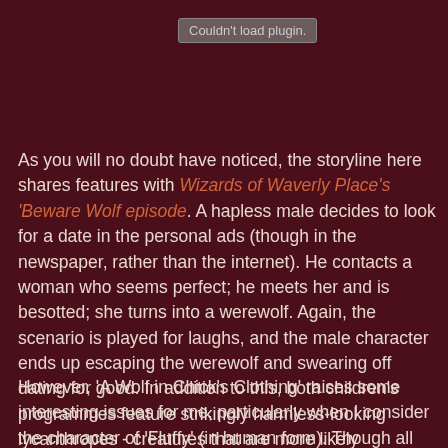[Figure (screenshot): Browser plugin error box reading 'Couldn't load plugin.']
As you will no doubt have noticed, the storyline here shares features with Wizards of Waverly Place's 'Beware Wolf episode. A hapless male decides to look for a date in the personal ads (though in the newspaper, rather than the internet). He contacts a woman who seems perfect; he meets her and is besotted; she turns into a werewolf. Again, the scenario is played for laughs, and the male character ends up escaping the werewolf and swearing off dating for good. In addition to this, both children's programmes feature strikingly harmless-looking lycanthropes - creatures that are more likely enthusiastic puppies than maneating beasts.
However, 'A Wolf in Chick's Clothing' raises some interesting issues for me, particularly when I consider the character of 'Fluffy' (in human form). Though all the characters in Johnny